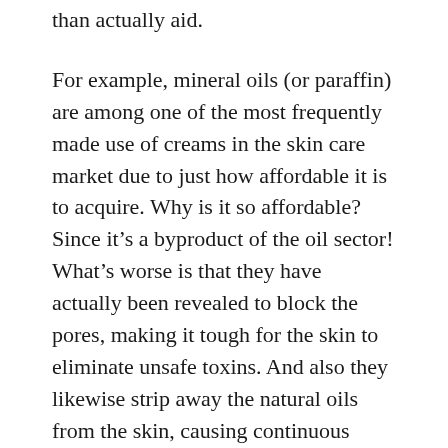than actually aid.
For example, mineral oils (or paraffin) are among one of the most frequently made use of creams in the skin care market due to just how affordable it is to acquire. Why is it so affordable? Since it’s a byproduct of the oil sector! What’s worse is that they have actually been revealed to block the pores, making it tough for the skin to eliminate unsafe toxins. And also they likewise strip away the natural oils from the skin, causing continuous chapping and also dry skin.
# 2. Make use of a day cream or cream having some sort of sun block or SPF protection so you